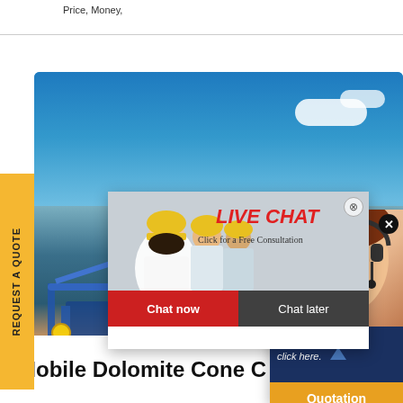Price, Money,
[Figure (photo): Industrial machinery / mining/crushing equipment facility with blue sky background and C&M branding. Overlaid with a live chat popup featuring workers in yellow hard hats, LIVE CHAT heading, 'Click for a Free Consultation' text, 'Chat now' and 'Chat later' buttons. Also overlaid with a customer service representative popup with a woman wearing a headset, 'Have any requests, click here.' text, and a 'Quotation' button. Yellow 'REQUEST A QUOTE' sidebar tab on left.]
Mobile Dolomite Cone C